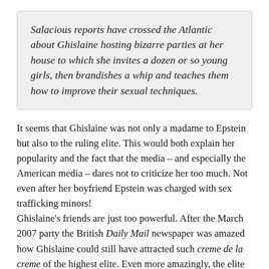Salacious reports have crossed the Atlantic about Ghislaine hosting bizarre parties at her house to which she invites a dozen or so young girls, then brandishes a whip and teaches them how to improve their sexual techniques.
It seems that Ghislaine was not only a madame to Epstein but also to the ruling elite. This would both explain her popularity and the fact that the media – and especially the American media – dares not to criticize her too much. Not even after her boyfriend Epstein was charged with sex trafficking minors!
Ghislaine's friends are just too powerful. After the March 2007 party the British Daily Mail newspaper was amazed how Ghislaine could still have attracted such creme de la creme of the highest elite. Even more amazingly, the elite was practically swooning over her.